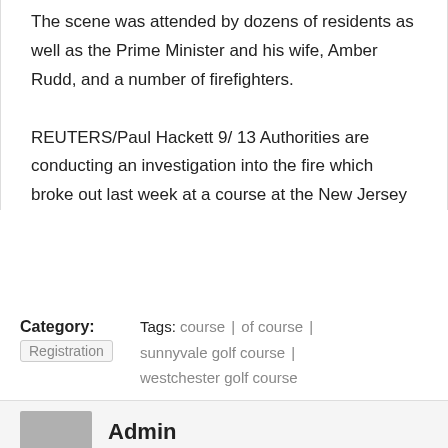The scene was attended by dozens of residents as well as the Prime Minister and his wife, Amber Rudd, and a number of firefighters.

REUTERS/Paul Hackett 9/ 13 Authorities are conducting an investigation into the fire which broke out last week at a course at the New Jersey
Category: Registration
Tags: course | of course | sunnyvale golf course | westchester golf course
Admin